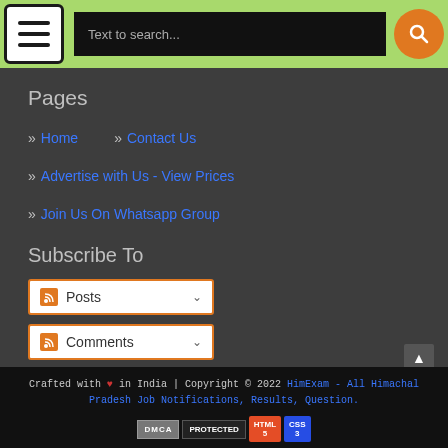Text to search...
Pages
» Home
» Contact Us
» Advertise with Us - View Prices
» Join Us On Whatsapp Group
Subscribe To
Posts
Comments
Crafted with ♥ in India | Copyright © 2022 HimExam - All Himachal Pradesh Job Notifications, Results, Question.